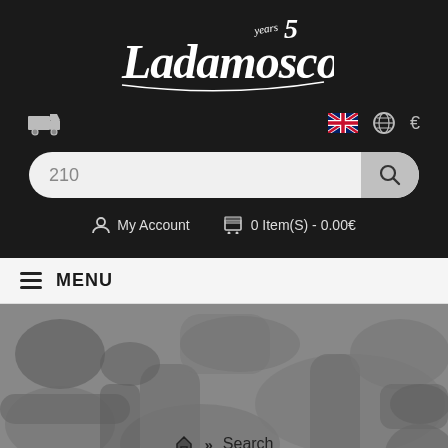[Figure (logo): Ladamoscow 5 years script logo in white on dark background]
[Figure (infographic): Toolbar with truck icon, UK flag, globe icon, and euro currency symbol]
210
My Account   0 Item(S) - 0.00€
MENU
[Figure (photo): Background photo of engine parts / turbo pipes in grayscale]
⌂ » Search